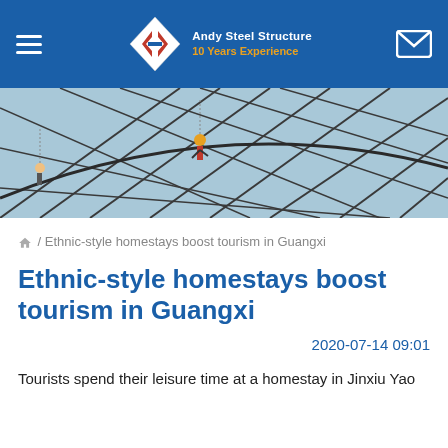Andy Steel Structure | 10 Years Experience
[Figure (photo): Workers on a large steel lattice dome structure against a blue sky]
🏠 / Ethnic-style homestays boost tourism in Guangxi
Ethnic-style homestays boost tourism in Guangxi
2020-07-14 09:01
Tourists spend their leisure time at a homestay in Jinxiu Yao